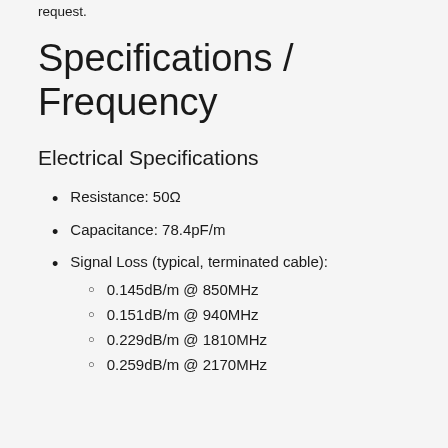request.
Specifications / Frequency
Electrical Specifications
Resistance: 50Ω
Capacitance: 78.4pF/m
Signal Loss (typical, terminated cable):
0.145dB/m @ 850MHz
0.151dB/m @ 940MHz
0.229dB/m @ 1810MHz
0.259dB/m @ 2170MHz